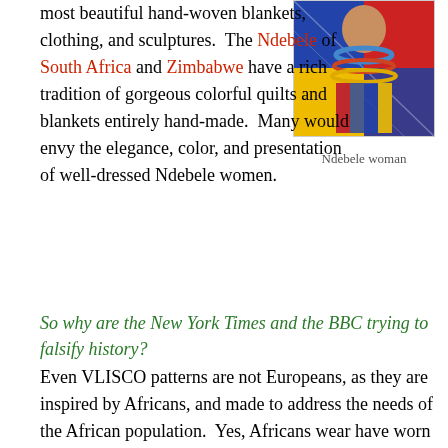most beautiful hand-woven blankets, clothing, and sculptures. The Ndebele of South Africa and Zimbabwe have a rich tradition of gorgeous colorful quilts and blankets entirely hand-made. Many would envy the elegance, color, and presentation of well-dressed Ndebele women.
[Figure (photo): A Ndebele woman wearing traditional colorful beaded necklaces and garments with geometric patterns in blue, red, yellow, and green.]
Ndebele woman
So why are the New York Times and the BBC trying to falsify history?
Even VLISCO patterns are not Europeans, as they are inspired by Africans, and made to address the needs of the African population. Yes, Africans wear have worn VLISCO textiles and many Nana Benz have prospered